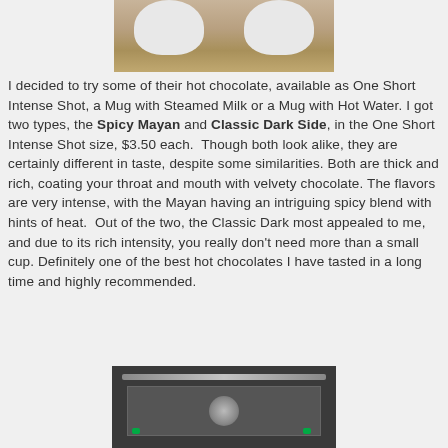[Figure (photo): Top portion of two white cups/mugs on a wooden surface, photographed from above.]
I decided to try some of their hot chocolate, available as One Short Intense Shot, a Mug with Steamed Milk or a Mug with Hot Water. I got two types, the Spicy Mayan and Classic Dark Side, in the One Short Intense Shot size, $3.50 each. Though both look alike, they are certainly different in taste, despite some similarities. Both are thick and rich, coating your throat and mouth with velvety chocolate. The flavors are very intense, with the Mayan having an intriguing spicy blend with hints of heat. Out of the two, the Classic Dark most appealed to me, and due to its rich intensity, you really don't need more than a small cup. Definitely one of the best hot chocolates I have tasted in a long time and highly recommended.
[Figure (photo): A glass display case or refrigerated unit, dark interior with lighting and green indicator lights visible.]